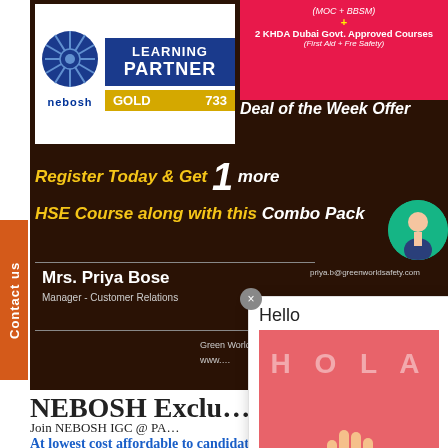[Figure (infographic): NEBOSH Gold Learning Partner logo badge with blue background and gold bar showing '733']
[Figure (infographic): Pink promotional banner with text about MOC + BBSM and 2 KHDA Dubai Govt. Approved Courses (First Aid + Fire Safety)]
Deal of the Week Offer
Register Today & Get 1 more HSE Course along with this Combo Pack
Mrs. Priya Bose
Manager - Customer Relations
priya.b@greenworldsafety.com
Green World serv...
www....
[Figure (illustration): Popup overlay with 'Hello' text and HOLA greeting card with a hand wave illustration on pink/coral background]
NEBOSH Exclu...
Join NEBOSH IGC @ PA...
At lowest cost affordable to candidate